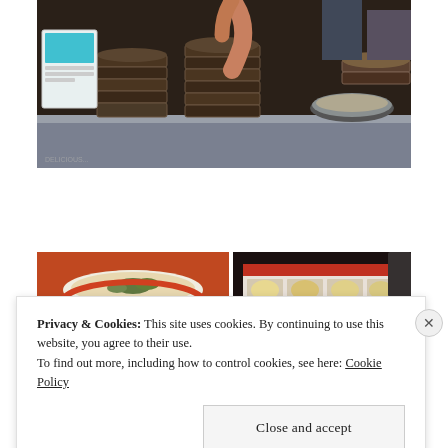[Figure (photo): A food stall or restaurant window showing stacked bamboo steamers and cooking pots on a counter, with a person's hands visible preparing food. A menu board is visible on the left.]
[Figure (photo): A bowl of soup or stew with green garnish, served in a red bowl, photographed from above.]
[Figure (photo): A dim sum menu or food catalog showing multiple images of dishes, held open against a dark background.]
Privacy & Cookies: This site uses cookies. By continuing to use this website, you agree to their use.
To find out more, including how to control cookies, see here: Cookie Policy
Close and accept